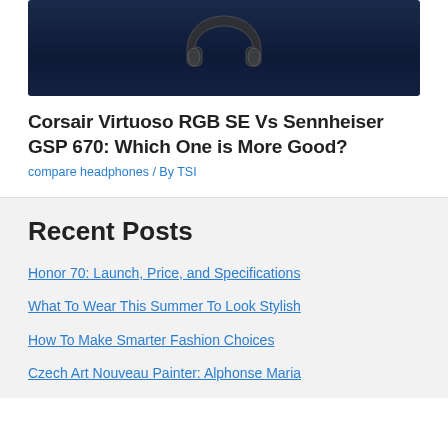[Figure (photo): Dark-themed image of gaming headphones (Corsair/Sennheiser) against a dark blue background]
Corsair Virtuoso RGB SE Vs Sennheiser GSP 670: Which One is More Good?
compare headphones / By TSI
Recent Posts
Honor 70: Launch, Price, and Specifications
What To Wear This Summer To Look Stylish
How To Make Smarter Fashion Choices
Czech Art Nouveau Painter: Alphonse Maria